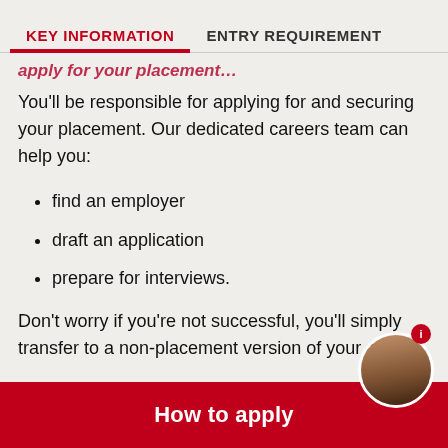KEY INFORMATION | ENTRY REQUIREMENT
You'll be responsible for applying for and securing your placement. Our dedicated careers team can help you:
find an employer
draft an application
prepare for interviews.
Don't worry if you're not successful, you'll simply transfer to a non-placement version of your course.
How to apply